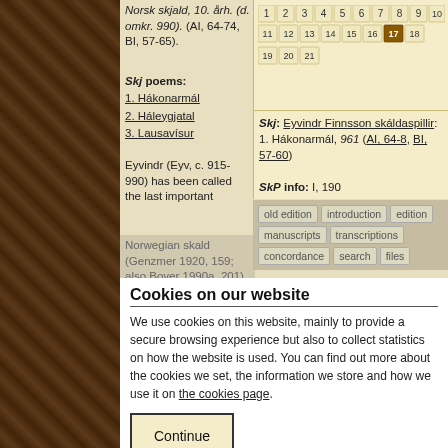Norsk skjald, 10. årh. (d. omkr. 990). (AI, 64-74, BI, 57-65).
Skj poems:
1. Hákonarmál
2. Háleygjatal
3. Lausavísur
Eyvindr (Eyv, c. 915-990) has been called the last important Norwegian skald (Genzmer 1920, 159; also Boyer 1990a, 201). He is listed in
[Figure (other): Number grid showing stanzas 1-21 with stanza 17 highlighted in brown]
Skj: Eyvindr Finnsson skáldaspillir: 1. Hákonarmál, 961 (AI, 64-8, BI, 57-60)
SkP info: I, 190
old edition | introduction | edition | manuscripts | transcriptions | concordance | search | files
Cookies on our website
We use cookies on this website, mainly to provide a secure browsing experience but also to collect statistics on how the website is used. You can find out more about the cookies we set, the information we store and how we use it on the cookies page.
Continue
transcriptions | old edition | references | concordance
Cite as: R. D. Fulk (ed.) 2012, 'Eyvindr skáldaspillir Finnsson, Hákonarmál 17' in Diana Whaley (ed.), Poetry from the Kings' Sagas